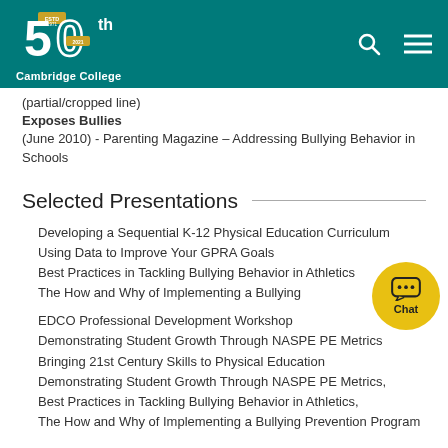Cambridge College 50th
(partial/cropped line)
Exposes Bullies
(June 2010) - Parenting Magazine – Addressing Bullying Behavior in Schools
Selected Presentations
Developing a Sequential K-12 Physical Education Curriculum
Using Data to Improve Your GPRA Goals
Best Practices in Tackling Bullying Behavior in Athletics
The How and Why of Implementing a Bullying
EDCO Professional Development Workshop
Demonstrating Student Growth Through NASPE PE Metrics
Bringing 21st Century Skills to Physical Education
Demonstrating Student Growth Through NASPE PE Metrics,
Best Practices in Tackling Bullying Behavior in Athletics,
The How and Why of Implementing a Bullying Prevention Program